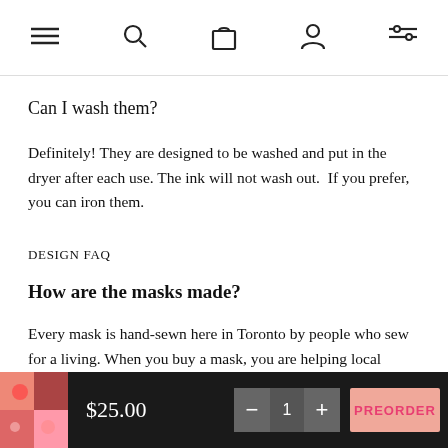Navigation icons: menu, search, bag, account, filters
Can I wash them?
Definitely! They are designed to be washed and put in the dryer after each use. The ink will not wash out.  If you prefer, you can iron them.
DESIGN FAQ
How are the masks made?
Every mask is hand-sewn here in Toronto by people who sew for a living. When you buy a mask, you are helping local people keep their independent business going in an incredibly difficult time.
$25.00  − 1 +  PREORDER